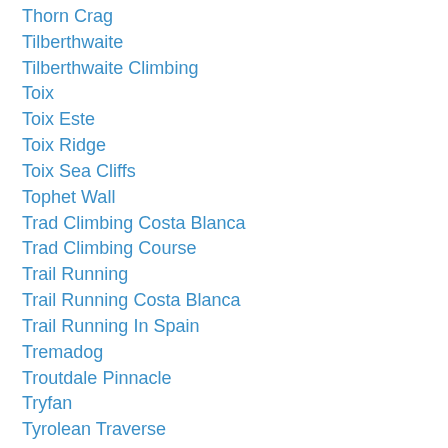Thorn Crag
Tilberthwaite
Tilberthwaite Climbing
Toix
Toix Este
Toix Ridge
Toix Sea Cliffs
Tophet Wall
Trad Climbing Costa Blanca
Trad Climbing Course
Trail Running
Trail Running Costa Blanca
Trail Running In Spain
Tremadog
Troutdale Pinnacle
Tryfan
Tyrolean Traverse
Ullscarf
Ullswater
Ullswater Lakeshore Path
Up Assisted Hoist